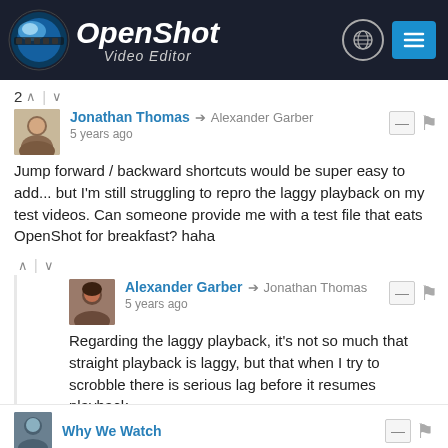[Figure (screenshot): OpenShot Video Editor website header with logo, globe icon, and menu button]
2 ↑ | ↓
[Figure (photo): Avatar photo of Jonathan Thomas]
Jonathan Thomas → Alexander Garber
5 years ago
Jump forward / backward shortcuts would be super easy to add... but I'm still struggling to repro the laggy playback on my test videos. Can someone provide me with a test file that eats OpenShot for breakfast? haha
↑ | ↓
[Figure (photo): Avatar photo of Alexander Garber]
Alexander Garber → Jonathan Thomas
5 years ago
Regarding the laggy playback, it's not so much that straight playback is laggy, but that when I try to scrobble there is serious lag before it resumes playback.
↑ | ↓
[Figure (photo): Avatar photo of Why We Watch]
Why We Watch